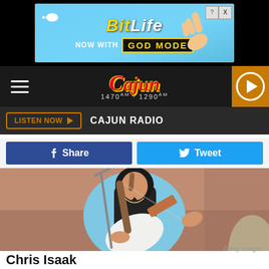[Figure (screenshot): BitLife advertisement banner: 'BitLife NOW WITH GOD MODE' on a blue background with hand pointing, close button top right]
[Figure (screenshot): Cajun Radio navigation bar with hamburger menu, Cajun Radio logo (1470AM · 1290AM), and orange play button]
LISTEN NOW ▶   CAJUN RADIO
[Figure (screenshot): Facebook Share button (blue) and Twitter Tweet button (cyan blue) side by side]
[Figure (photo): Musician in light blue rhinestone jacket playing a white electric guitar at a microphone stand outdoors]
Getty Images
Chris Isaak